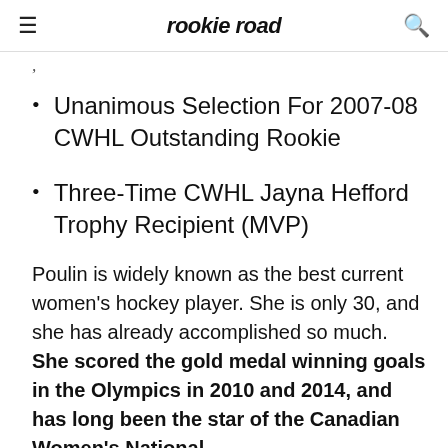rookie road
[partial text, cut off at top]
Unanimous Selection For 2007-08 CWHL Outstanding Rookie
Three-Time CWHL Jayna Hefford Trophy Recipient (MVP)
Poulin is widely known as the best current women's hockey player. She is only 30, and she has already accomplished so much. She scored the gold medal winning goals in the Olympics in 2010 and 2014, and has long been the star of the Canadian Women's National